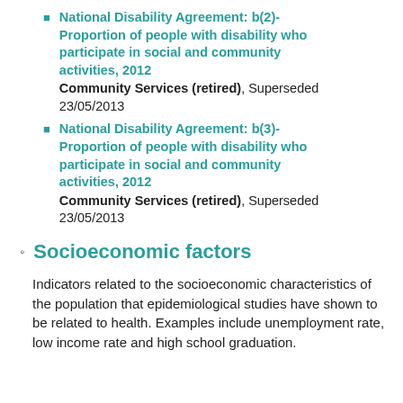National Disability Agreement: b(2)-Proportion of people with disability who participate in social and community activities, 2012 Community Services (retired), Superseded 23/05/2013
National Disability Agreement: b(3)-Proportion of people with disability who participate in social and community activities, 2012 Community Services (retired), Superseded 23/05/2013
Socioeconomic factors
Indicators related to the socioeconomic characteristics of the population that epidemiological studies have shown to be related to health. Examples include unemployment rate, low income rate and high school graduation.